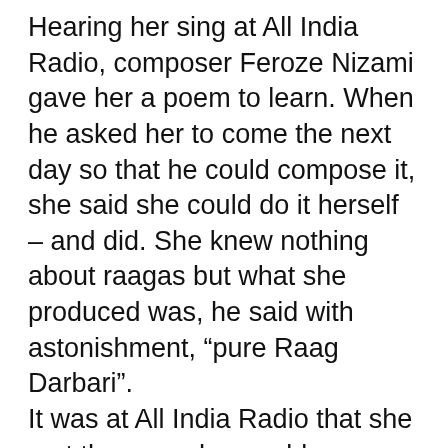Hearing her sing at All India Radio, composer Feroze Nizami gave her a poem to learn. When he asked her to come the next day so that he could compose it, she said she could do it herself – and did. She knew nothing about raagas but what she produced was, he said with astonishment, “pure Raag Darbari”.
It was at All India Radio that she met the man she would marry, Saleem Shahed from Sialkot, who left Pakistan to become a prominent broadcaster at BBC in the 1960s. The couple lived separately after he went abroad but never divorced.
After her husband left for England, Khursheed Shahid moved in with her parents at their flat in Lajpat Marg in a Royal Ghar hotel down...